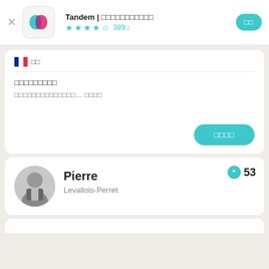Tandem | □□□□□□□□□□□ ★★★★☆ 389□
□□
□□□□□□□□□
□□□□□□□□□□□□□□... □□□□
□□□□
Pierre
Levallois-Perret
53